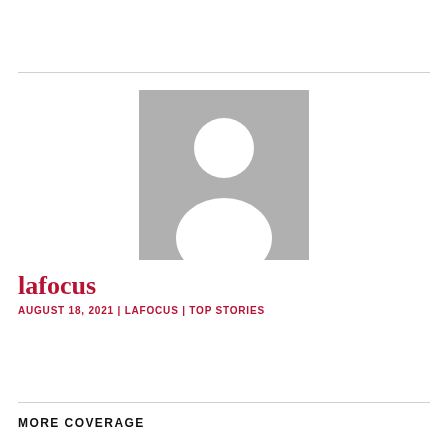[Figure (illustration): Default user avatar placeholder image — grey square with white silhouette of a person (head and shoulders)]
lafocus
AUGUST 18, 2021 | LAFOCUS | TOP STORIES
MORE COVERAGE